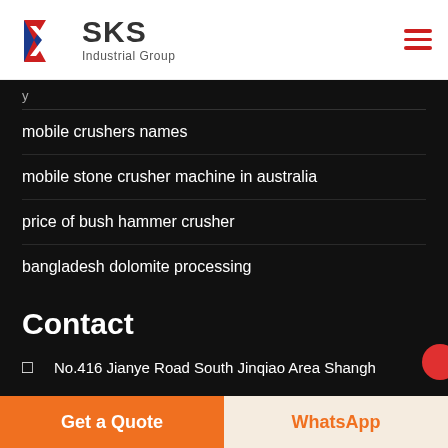[Figure (logo): SKS Industrial Group logo with red and blue K letter mark]
mobile crushers names
mobile stone crusher machine in australia
price of bush hammer crusher
bangladesh dolomite processing
Contact
No.416 Jianye Road South Jinqiao Area Shangh...
Get a Quote
WhatsApp